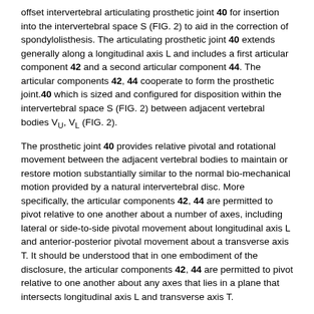offset intervertebral articulating prosthetic joint 40 for insertion into the intervertebral space S (FIG. 2) to aid in the correction of spondylolisthesis. The articulating prosthetic joint 40 extends generally along a longitudinal axis L and includes a first articular component 42 and a second articular component 44. The articular components 42, 44 cooperate to form the prosthetic joint.40 which is sized and configured for disposition within the intervertebral space S (FIG. 2) between adjacent vertebral bodies V_U, V_L (FIG. 2).
The prosthetic joint 40 provides relative pivotal and rotational movement between the adjacent vertebral bodies to maintain or restore motion substantially similar to the normal bio-mechanical motion provided by a natural intervertebral disc. More specifically, the articular components 42, 44 are permitted to pivot relative to one another about a number of axes, including lateral or side-to-side pivotal movement about longitudinal axis L and anterior-posterior pivotal movement about a transverse axis T. It should be understood that in one embodiment of the disclosure, the articular components 42, 44 are permitted to pivot relative to one another about any axes that lies in a plane that intersects longitudinal axis L and transverse axis T.
Furthermore, the articular components 42, 44 are permitted to rotate relative to one another about a rotational axis R. Although the prosthetic joint 40 has been illustrated and described as providing a specific...